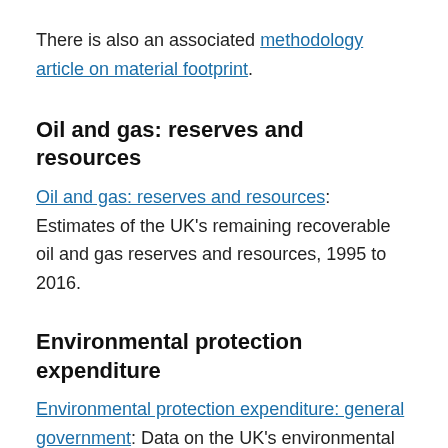There is also an associated methodology article on material footprint.
Oil and gas: reserves and resources
Oil and gas: reserves and resources: Estimates of the UK's remaining recoverable oil and gas reserves and resources, 1995 to 2016.
Environmental protection expenditure
Environmental protection expenditure: general government: Data on the UK's environmental protection expenditure by general government according to activity, 1995 to 2017.